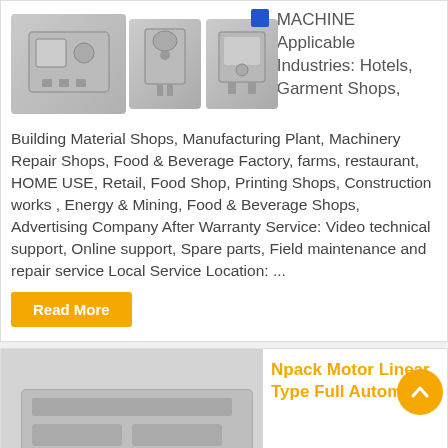[Figure (photo): Three industrial machines shown side by side with a small blue icon]
MACHINE Applicable Industries: Hotels, Garment Shops, Building Material Shops, Manufacturing Plant, Machinery Repair Shops, Food & Beverage Factory, farms, restaurant, HOME USE, Retail, Food Shop, Printing Shops, Construction works , Energy & Mining, Food & Beverage Shops, Advertising Company After Warranty Service: Video technical support, Online support, Spare parts, Field maintenance and repair service Local Service Location: ...
Read More
[Figure (photo): Industrial machine (linear filling machine) partially shown]
Npack Motor Linear Type Full Automatic